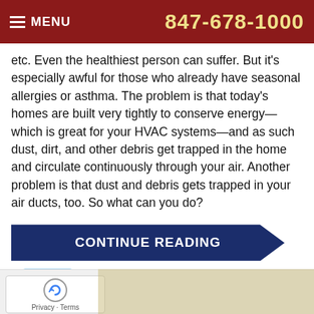MENU | 847-678-1000
etc. Even the healthiest person can suffer. But it's especially awful for those who already have seasonal allergies or asthma. The problem is that today's homes are built very tightly to conserve energy—which is great for your HVAC systems—and as such dust, dirt, and other debris get trapped in the home and circulate continuously through your air. Another problem is that dust and debris gets trapped in your air ducts, too. So what can you do?
CONTINUE READING
Tweet  Tags: Air Cleaners, Skokie
Posted in Indoor Air Quality | Comments Off on Prevent Allergy Suffering with These Indoor Air Quality Tips